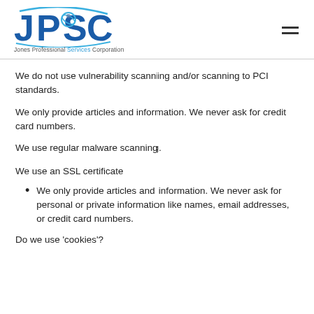[Figure (logo): JPSC logo with globe icon and text 'Jones Professional Services Corporation']
We do not use vulnerability scanning and/or scanning to PCI standards.
We only provide articles and information. We never ask for credit card numbers.
We use regular malware scanning.
We use an SSL certificate
We only provide articles and information. We never ask for personal or private information like names, email addresses, or credit card numbers.
Do we use 'cookies'?